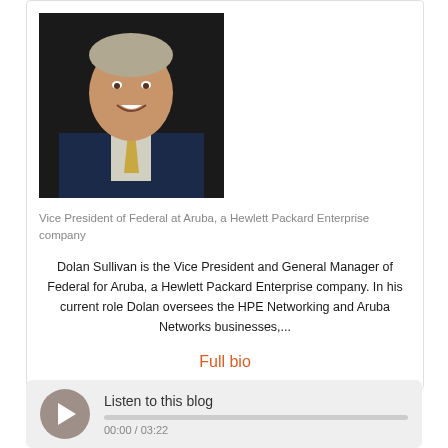[Figure (photo): Headshot of Dolan Sullivan, a man in a suit and tie, smiling, dark background]
Vice President of Federal at Aruba, a Hewlett Packard Enterprise company
Dolan Sullivan is the Vice President and General Manager of Federal for Aruba, a Hewlett Packard Enterprise company. In his current role Dolan oversees the HPE Networking and Aruba Networks businesses,...
Full bio
Listen to this blog
00:00 / 03:22